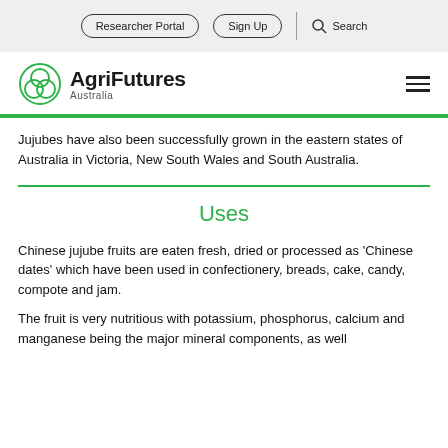Researcher Portal | Sign Up | Search
[Figure (logo): AgriFutures Australia logo — green interlocking circles icon with bold text 'AgriFutures' and subtitle 'Australia']
Jujubes have also been successfully grown in the eastern states of Australia in Victoria, New South Wales and South Australia.
Uses
Chinese jujube fruits are eaten fresh, dried or processed as 'Chinese dates' which have been used in confectionery, breads, cake, candy, compote and jam.
The fruit is very nutritious with potassium, phosphorus, calcium and manganese being the major mineral components, as well